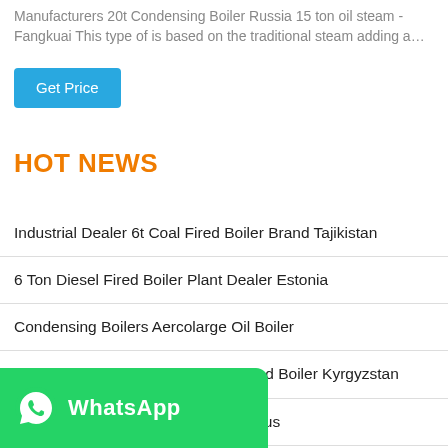Manufacturers 20t Condensing Boiler Russia 15 ton oil steam - Fangkuai This type of is based on the traditional steam adding a…
[Figure (other): Blue 'Get Price' button]
HOT NEWS
Industrial Dealer 6t Coal Fired Boiler Brand Tajikistan
6 Ton Diesel Fired Boiler Plant Dealer Estonia
Condensing Boilers Aercolarge Oil Boiler
Commercial 10 Ton Natural Gas Fired Boiler Kyrgyzstan
1t Biomass Fired Steam Boiler Belarus
…cy 6 Ton Armenia
Manufacturers 2t Natural Gas Hot Water Boiler Georgia
[Figure (logo): WhatsApp overlay button with green background, WhatsApp icon and 'WhatsApp' text]